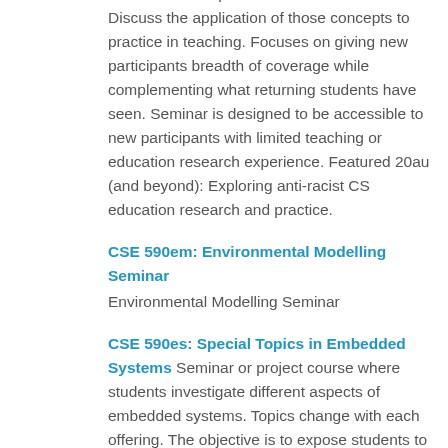research in computer science education. Discuss the application of those concepts to practice in teaching. Focuses on giving new participants breadth of coverage while complementing what returning students have seen. Seminar is designed to be accessible to new participants with limited teaching or education research experience. Featured 20au (and beyond): Exploring anti-racist CS education research and practice.
CSE 590em: Environmental Modelling Seminar
Environmental Modelling Seminar
CSE 590es: Special Topics in Embedded Systems
Seminar or project course where students investigate different aspects of embedded systems. Topics change with each offering. The objective is to expose students to the different